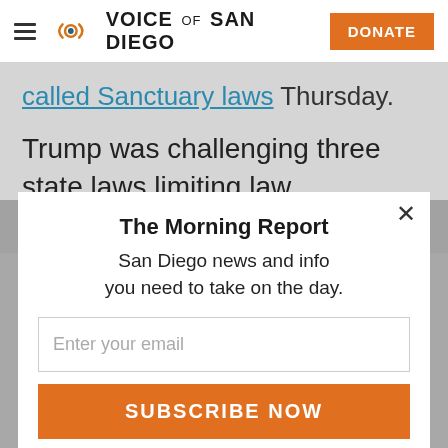Voice of San Diego — DONATE
called Sanctuary laws Thursday.
Trump was challenging three state laws limiting law enforcement interaction with federal immigration officers
The Morning Report
San Diego news and info you need to take on the day.
Enter your email
SUBSCRIBE NOW
Read it first